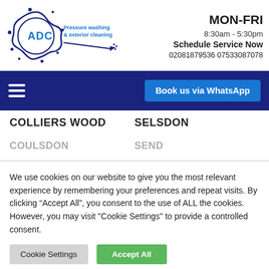[Figure (logo): ADC Pressure Washing & Exterior Cleaning logo — circular gear/splatter shape in navy blue with 'ADC' in blue bold text and 'Pressure washing & exterior cleaning' in blue text, with a pressure washer wand graphic]
MON-FRI
8:30am - 5:30pm
Schedule Service Now
02081879536 07533087078
Book us via WhatsApp
COLLIERS WOOD
SELSDON
COULSDON
SEND
We use cookies on our website to give you the most relevant experience by remembering your preferences and repeat visits. By clicking “Accept All”, you consent to the use of ALL the cookies. However, you may visit “Cookie Settings” to provide a controlled consent.
Cookie Settings
Accept All